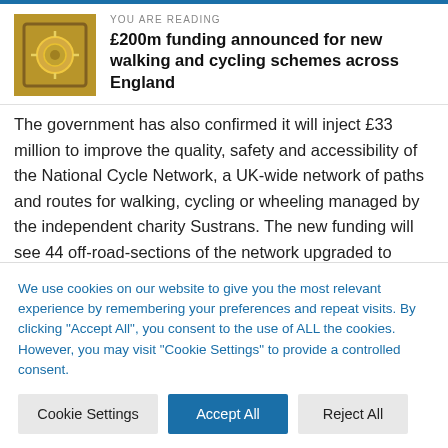YOU ARE READING
£200m funding announced for new walking and cycling schemes across England
The government has also confirmed it will inject £33 million to improve the quality, safety and accessibility of the National Cycle Network, a UK-wide network of paths and routes for walking, cycling or wheeling managed by the independent charity Sustrans. The new funding will see 44 off-road-sections of the network upgraded to ensure they endure for years to come.
Up to £8 million is going towards a new programme to accelerate the uptake of a cycles by offering short and long term loans of a
We use cookies on our website to give you the most relevant experience by remembering your preferences and repeat visits. By clicking "Accept All", you consent to the use of ALL the cookies. However, you may visit "Cookie Settings" to provide a controlled consent.